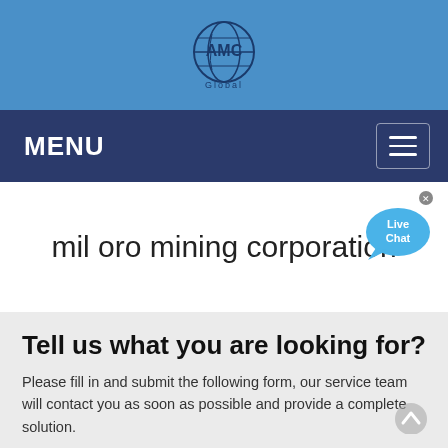[Figure (logo): AMC Global company logo — globe icon with 'AMC' text and 'Global' subtext below, on a blue background]
MENU
mil oro mining corporation
Tell us what you are looking for?
Please fill in and submit the following form, our service team will contact you as soon as possible and provide a complete solution.